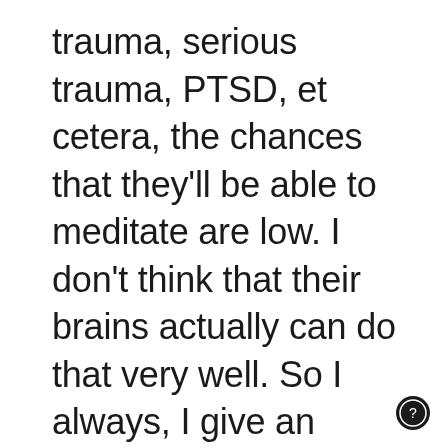trauma, serious trauma, PTSD, et cetera, the chances that they'll be able to meditate are low. I don't think that their brains actually can do that very well. So I always, I give an exercise very often that's called unweirding meditation. And the only thing it involves is choosing
[Figure (other): Small circular icon with a question mark symbol, dark background]